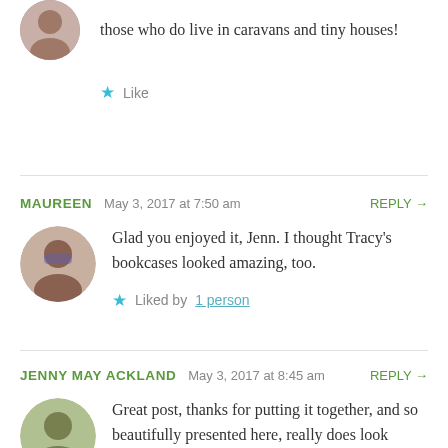those who do live in caravans and tiny houses!
Like
MAUREEN   May 3, 2017 at 7:50 am   REPLY →
Glad you enjoyed it, Jenn. I thought Tracy's bookcases looked amazing, too.
Liked by 1 person
JENNY MAY ACKLAND   May 3, 2017 at 8:45 am   REPLY →
Great post, thanks for putting it together, and so beautifully presented here, really does look...